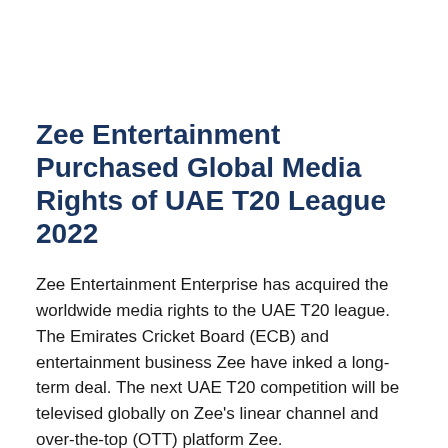Zee Entertainment Purchased Global Media Rights of UAE T20 League 2022
Zee Entertainment Enterprise has acquired the worldwide media rights to the UAE T20 league. The Emirates Cricket Board (ECB) and entertainment business Zee have inked a long-term deal. The next UAE T20 competition will be televised globally on Zee's linear channel and over-the-top (OTT) platform Zee.